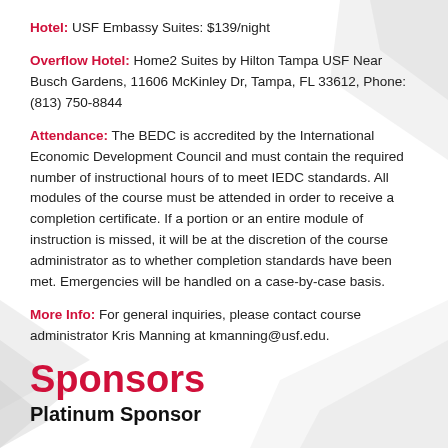Hotel: USF Embassy Suites: $139/night
Overflow Hotel: Home2 Suites by Hilton Tampa USF Near Busch Gardens, 11606 McKinley Dr, Tampa, FL 33612, Phone: (813) 750-8844
Attendance: The BEDC is accredited by the International Economic Development Council and must contain the required number of instructional hours of to meet IEDC standards. All modules of the course must be attended in order to receive a completion certificate. If a portion or an entire module of instruction is missed, it will be at the discretion of the course administrator as to whether completion standards have been met. Emergencies will be handled on a case-by-case basis.
More Info: For general inquiries, please contact course administrator Kris Manning at kmanning@usf.edu.
Sponsors
Platinum Sponsor